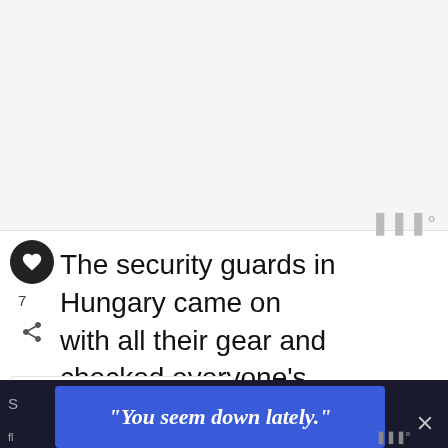[Figure (screenshot): Top grey/white advertisement or image placeholder area]
The security guards in Hungary came on with all their gear and checked everyone's passport as they went down the train. Mine (passport) was checked and stamped on the spot. Hungary is in the
[Figure (infographic): WHAT'S NEXT arrow label with '26 Things You Can Only Bu...' and UK flag circle icon]
[Figure (infographic): Ad banner: "You seem down lately." in white bold italic text on blue background]